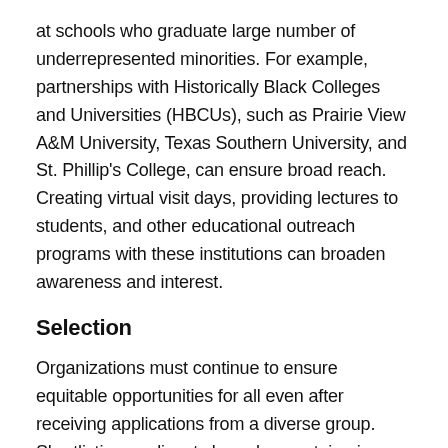at schools who graduate large number of underrepresented minorities. For example, partnerships with Historically Black Colleges and Universities (HBCUs), such as Prairie View A&M University, Texas Southern University, and St. Phillip's College, can ensure broad reach. Creating virtual visit days, providing lectures to students, and other educational outreach programs with these institutions can broaden awareness and interest.
Selection
Organizations must continue to ensure equitable opportunities for all even after receiving applications from a diverse group. Shortlisting applicants based on certain pieces of information in the application can be at odds with efforts to create a diverse workforce. For example, reliance on standardized examination scores